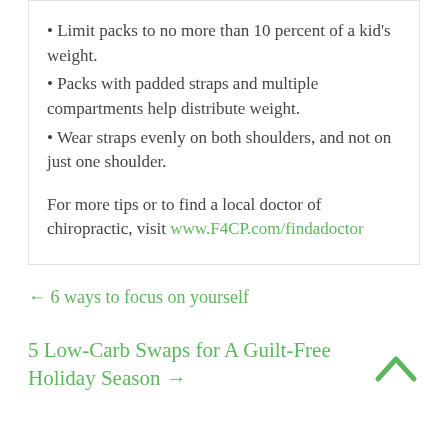• Limit packs to no more than 10 percent of a kid's weight.
• Packs with padded straps and multiple compartments help distribute weight.
• Wear straps evenly on both shoulders, and not on just one shoulder.
For more tips or to find a local doctor of chiropractic, visit www.F4CP.com/findadoctor
← 6 ways to focus on yourself
5 Low-Carb Swaps for A Guilt-Free Holiday Season →